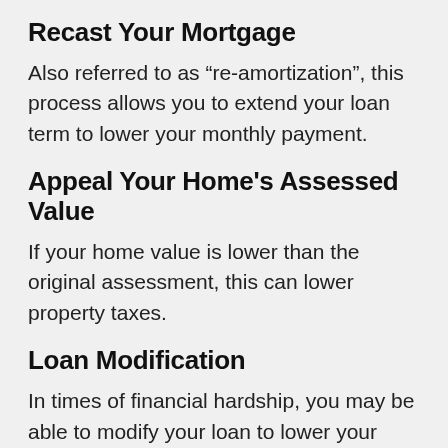Recast Your Mortgage
Also referred to as “re-amortization”, this process allows you to extend your loan term to lower your monthly payment.
Appeal Your Home's Assessed Value
If your home value is lower than the original assessment, this can lower property taxes.
Loan Modification
In times of financial hardship, you may be able to modify your loan to lower your monthly payments.
Remove Mortgage Insurance (PMI)